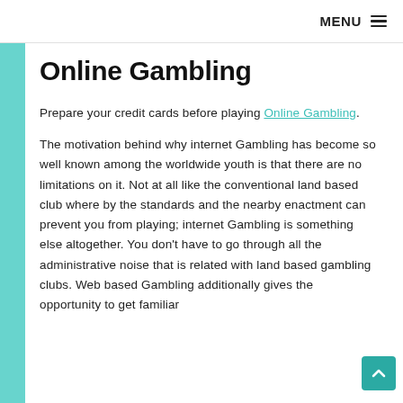MENU
Online Gambling
Prepare your credit cards before playing Online Gambling.
The motivation behind why internet Gambling has become so well known among the worldwide youth is that there are no limitations on it. Not at all like the conventional land based club where by the standards and the nearby enactment can prevent you from playing; internet Gambling is something else altogether. You don't have to go through all the administrative noise that is related with land based gambling clubs. Web based Gambling additionally gives the opportunity to get familiar